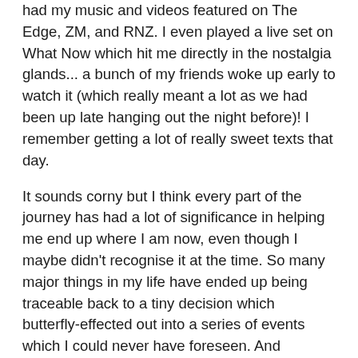had my music and videos featured on The Edge, ZM, and RNZ. I even played a live set on What Now which hit me directly in the nostalgia glands... a bunch of my friends woke up early to watch it (which really meant a lot as we had been up late hanging out the night before)! I remember getting a lot of really sweet texts that day.
It sounds corny but I think every part of the journey has had a lot of significance in helping me end up where I am now, even though I maybe didn't recognise it at the time. So many major things in my life have ended up being traceable back to a tiny decision which butterfly-effected out into a series of events which I could never have foreseen. And likewise, there are so many decisions which felt huge at the time, but went on to never really change anything.
But if I had to pick just one particularly special moment, it would have to be the release of my song 'Fingerprints'. I had been thinking quite seriously about quitting music at the point and then...